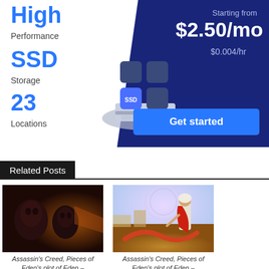[Figure (infographic): Cloud hosting advertisement banner with dark navy background on right side. Shows 'High Performance', 'SSD Storage', '23 Locations' on left with blue accent text. Right side shows 'Starting from $2.50/mo $0.004/hr' with a 3D SSD chip illustration and a blue 'Get started' button.]
Related Posts
[Figure (photo): Assassin's Creed game screenshot showing two masked figures in dark dramatic lighting]
Assassin's Creed, Pieces of Eden's plot of Eden –
[Figure (photo): Assassin's Creed game art showing a warrior in red and white robes in a colorful fantasy landscape]
Assassin's Creed, Pieces of Eden's plot of Eden –